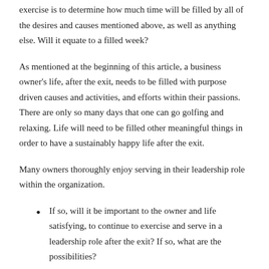exercise is to determine how much time will be filled by all of the desires and causes mentioned above, as well as anything else. Will it equate to a filled week?
As mentioned at the beginning of this article, a business owner's life, after the exit, needs to be filled with purpose driven causes and activities, and efforts within their passions. There are only so many days that one can go golfing and relaxing. Life will need to be filled other meaningful things in order to have a sustainably happy life after the exit.
Many owners thoroughly enjoy serving in their leadership role within the organization.
If so, will it be important to the owner and life satisfying, to continue to exercise and serve in a leadership role after the exit? If so, what are the possibilities?